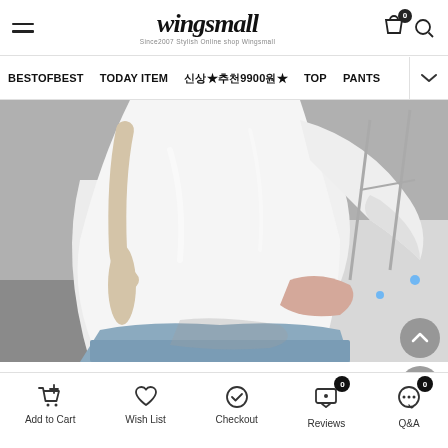wingsmall — Since 2007 Stylish Online shop Wingsmall
BESTOFBEST  TODAY ITEM  신상★추천99000원★  TOP  PANTS
[Figure (photo): A model wearing a white loose long-sleeve top and light blue jeans, holding a cream-colored bag, standing on a sunny outdoor concrete surface with a metal rack visible in the background.]
Add to Cart  Wish List  Checkout  Reviews (0)  Q&A (0)